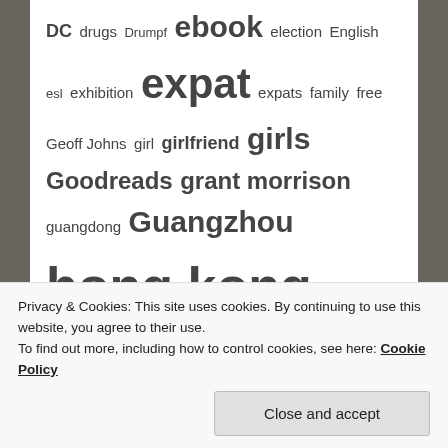DC drugs Drumpf ebook election English esl exhibition expat expats family free Geoff Johns girl girlfriend girls Goodreads grant morrison guangdong Guangzhou hong kong Instagram interview israel japan japanese Justice League kindle long beach love lsd manga marvel memoir moving Neal Stephenson Neil Gaiman novel novella one piece online dating pearl river drama poem pof politics psilocybin ray hecht review science fiction sex Shanghai shenzhen
Privacy & Cookies: This site uses cookies. By continuing to use this website, you agree to their use. To find out more, including how to control cookies, see here: Cookie Policy